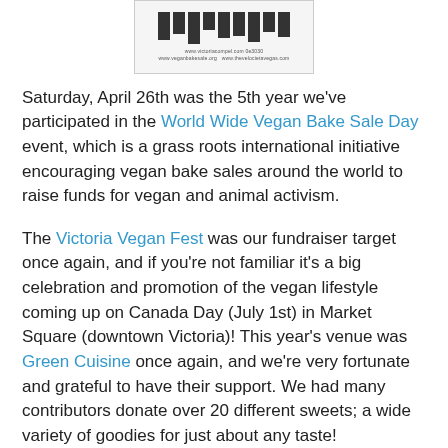[Figure (other): A small image showing what appears to be a sign or poster with bar-like graphic elements and small text lines at the bottom.]
Saturday, April 26th was the 5th year we've participated in the World Wide Vegan Bake Sale Day event, which is a grass roots international initiative encouraging vegan bake sales around the world to raise funds for vegan and animal activism.
The Victoria Vegan Fest was our fundraiser target once again, and if you're not familiar it's a big celebration and promotion of the vegan lifestyle coming up on Canada Day (July 1st) in Market Square (downtown Victoria)! This year's venue was Green Cuisine once again, and we're very fortunate and grateful to have their support. We had many contributors donate over 20 different sweets; a wide variety of goodies for just about any taste!
We had the standards like cupcakes and brownies, a wide selection of cookies and other goodies, and some surprises like toffees, caramels, and vanilla rooibos fig newtons (which were quite possibly the author's top choice!) All were vegan, and nearly half were gluten-free as well.